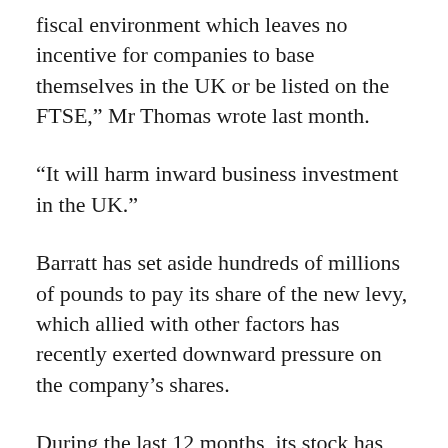fiscal environment which leaves no incentive for companies to base themselves in the UK or be listed on the FTSE,” Mr Thomas wrote last month.
“It will harm inward business investment in the UK.”
Barratt has set aside hundreds of millions of pounds to pay its share of the new levy, which allied with other factors has recently exerted downward pressure on the company’s shares.
During the last 12 months, its stock has fallen by more than a third, although with a market capitalisation of £5.1bn, it remains bigger than